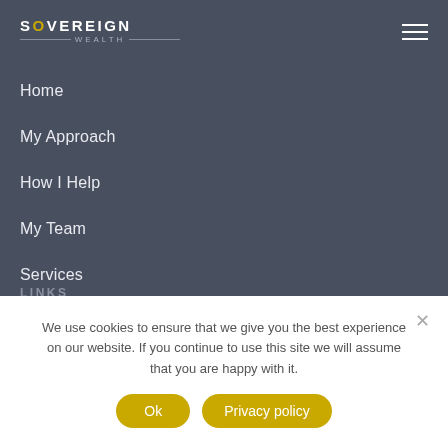[Figure (logo): Sovereign Wealth logo with stylized O in gold color and decorative lines around WEALTH text]
Home
My Approach
How I Help
My Team
Services
Knowledge and Resources
Get In Touch
LINKS
We use cookies to ensure that we give you the best experience on our website. If you continue to use this site we will assume that you are happy with it.